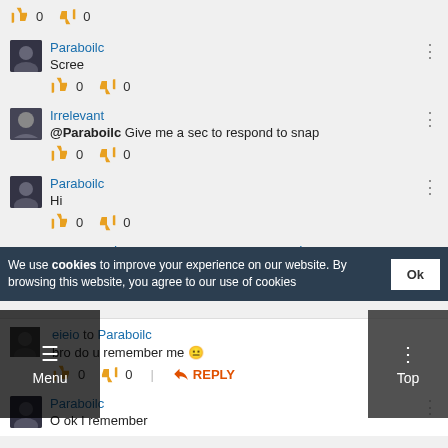Paraboilc
Scree
👍 0  👎 0
Irrelevant
@Paraboilc Give me a sec to respond to snap
👍 0  👎 0
Paraboilc
Hi
👍 0  👎 0
There are 4 more comments. Show ▼
SUBSCRIBE
eieio to Paraboilc
bro do u remember me 😐
👍 0  👎 0  | REPLY
Paraboilc
O ok I remember
Menu
Top
We use cookies to improve your experience on our website. By browsing this website, you agree to our use of cookies